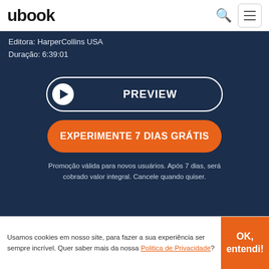ubook
Editora: HarperCollins USA
Duração: 6:39:01
PREVIEW
EXPERIMENTE 7 DIAS GRÁTIS
Promoção válida para novos usuários. Após 7 dias, será cobrado valor integral. Cancele quando quiser.
SINOPSE
"A twisting, wondrous tale full of magic that only Neil Gaiman could
Usamos cookies em nosso site, para fazer a sua experiência ser sempre incrível. Quer saber mais da nossa Politica de Privacidade?
OK, entendi!